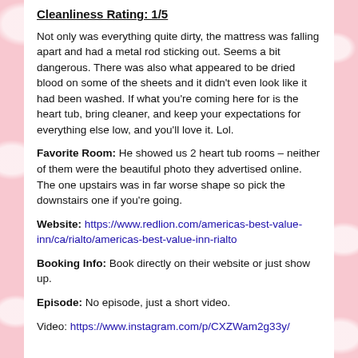Cleanliness Rating: 1/5
Not only was everything quite dirty, the mattress was falling apart and had a metal rod sticking out. Seems a bit dangerous. There was also what appeared to be dried blood on some of the sheets and it didn't even look like it had been washed. If what you're coming here for is the heart tub, bring cleaner, and keep your expectations for everything else low, and you'll love it. Lol.
Favorite Room: He showed us 2 heart tub rooms – neither of them were the beautiful photo they advertised online. The one upstairs was in far worse shape so pick the downstairs one if you're going.
Website: https://www.redlion.com/americas-best-value-inn/ca/rialto/americas-best-value-inn-rialto
Booking Info: Book directly on their website or just show up.
Episode: No episode, just a short video.
Video: https://www.instagram.com/p/CXZWam2g33y/